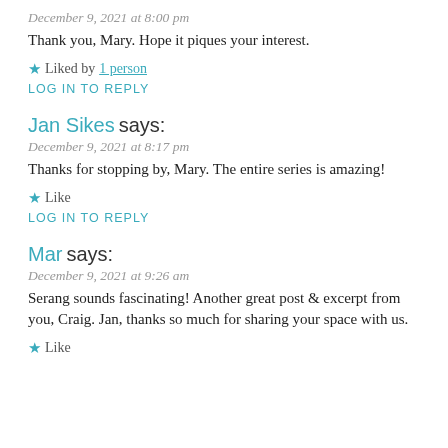December 9, 2021 at 8:00 pm
Thank you, Mary. Hope it piques your interest.
★ Liked by 1 person
LOG IN TO REPLY
Jan Sikes says:
December 9, 2021 at 8:17 pm
Thanks for stopping by, Mary. The entire series is amazing!
★ Like
LOG IN TO REPLY
Mar says:
December 9, 2021 at 9:26 am
Serang sounds fascinating! Another great post & excerpt from you, Craig. Jan, thanks so much for sharing your space with us.
★ Like